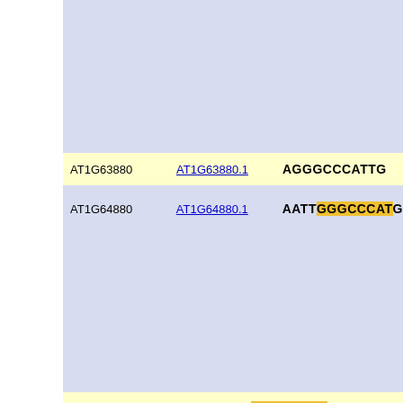| Gene | Transcript | Sequence |
| --- | --- | --- |
| AT1G63880 | AT1G63880.1 | AGGGCCCATTG |
| AT1G64880 | AT1G64880.1 | AATTGGGCCCATG |
| AT1G67320 | AT1G67320.1 | ATATGGGCCCATTAATAGGCCCAACA |